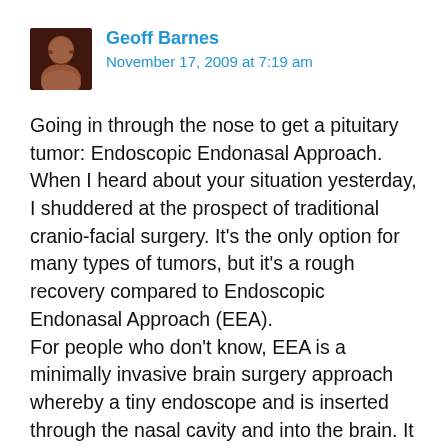[Figure (photo): Small square avatar photo of Geoff Barnes, a man with dark hair, reddish background]
Geoff Barnes
November 17, 2009 at 7:19 am
Going in through the nose to get a pituitary tumor: Endoscopic Endonasal Approach. When I heard about your situation yesterday, I shuddered at the prospect of traditional cranio-facial surgery. It's the only option for many types of tumors, but it's a rough recovery compared to Endoscopic Endonasal Approach (EEA).
For people who don't know, EEA is a minimally invasive brain surgery approach whereby a tiny endoscope and is inserted through the nasal cavity and into the brain. It is capable of